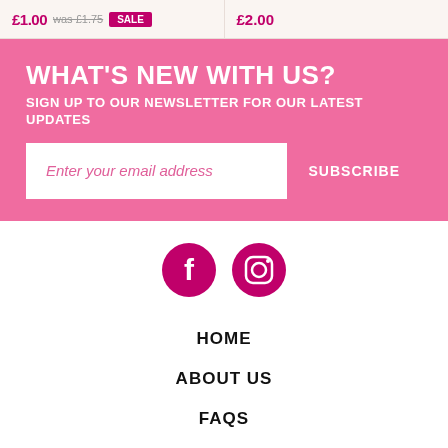£1.00 was £1.75 [badge] £2.00
WHAT'S NEW WITH US?
SIGN UP TO OUR NEWSLETTER FOR OUR LATEST UPDATES
Enter your email address
SUBSCRIBE
[Figure (illustration): Facebook and Instagram social media icons as pink circles with white logos]
HOME
ABOUT US
FAQS